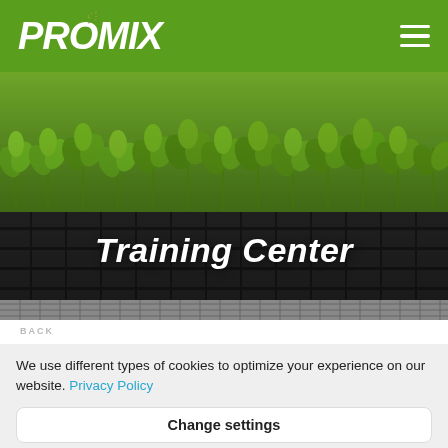PRO-MIX
[Figure (photo): Greenhouse seedlings in black plastic trays, rows of young green plants with 'Training Center' text overlay]
Training Center
BACK
We use different types of cookies to optimize your experience on our website. Privacy Policy
Change settings
Agree with cookies